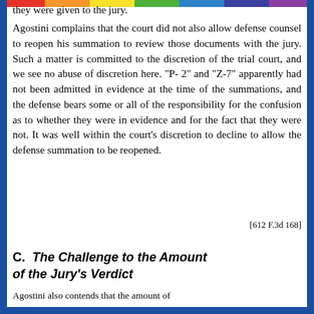they were given to the jury.
Agostini complains that the court did not also allow defense counsel to reopen his summation to review those documents with the jury. Such a matter is committed to the discretion of the trial court, and we see no abuse of discretion here. "P-2" and "Z-7" apparently had not been admitted in evidence at the time of the summations, and the defense bears some or all of the responsibility for the confusion as to whether they were in evidence and for the fact that they were not. It was well within the court's discretion to decline to allow the defense summation to be reopened.
[612 F.3d 168]
C.  The Challenge to the Amount of the Jury's Verdict
Agostini also contends that the amount of